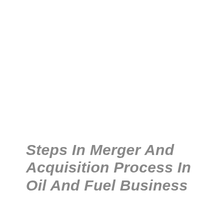Steps In Merger And Acquisition Process In Oil And Fuel Business